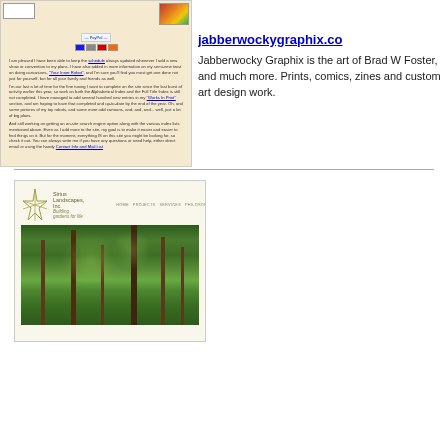[Figure (screenshot): Screenshot of Jabberwocky Graphix website showing signature image, PayPal button with credit card icons, colorful artwork thumbnail, and small text paragraphs on a beige background]
jabberwockygraphix.co
Jabberwocky Graphix is the art of Brad W Foster, and much more. Prints, comics, zines and custom art design work.
[Figure (screenshot): Screenshot of Sirius Landscapes, Inc. website showing logo with star and italic tagline 'Building gardens for life', navigation bar with HOME PROJECTS SERVICES PHILOSOPHY CONTACT, and a forest/woodland photograph with sunlit green trees]